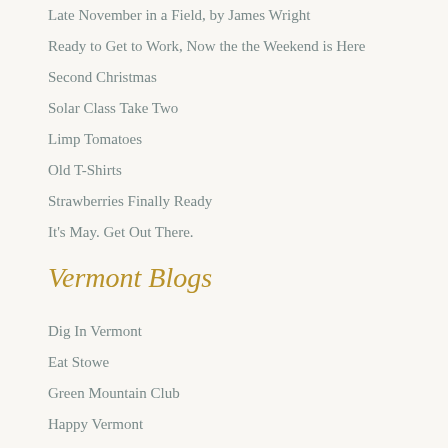Late November in a Field, by James Wright
Ready to Get to Work, Now the the Weekend is Here
Second Christmas
Solar Class Take Two
Limp Tomatoes
Old T-Shirts
Strawberries Finally Ready
It's May. Get Out There.
Vermont Blogs
Dig In Vermont
Eat Stowe
Green Mountain Club
Happy Vermont